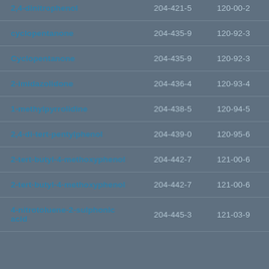| Name | EC Number | CAS Number |
| --- | --- | --- |
| 2,4-dinitrophenol | 204-421-5 | 120-00-2 |
| cyclopentanone | 204-435-9 | 120-92-3 |
| Cyclopentanone | 204-435-9 | 120-92-3 |
| 2-imidazolidone | 204-436-4 | 120-93-4 |
| 1-methylpyrrolidine | 204-438-5 | 120-94-5 |
| 2,4-di-tert-pentylphenol | 204-439-0 | 120-95-6 |
| 2-tert-butyl-4-methoxyphenol | 204-442-7 | 121-00-6 |
| 2-tert-butyl-4-methoxyphenol | 204-442-7 | 121-00-6 |
| 4-nitrotoluene-2-sulphonic acid | 204-445-3 | 121-03-9 |